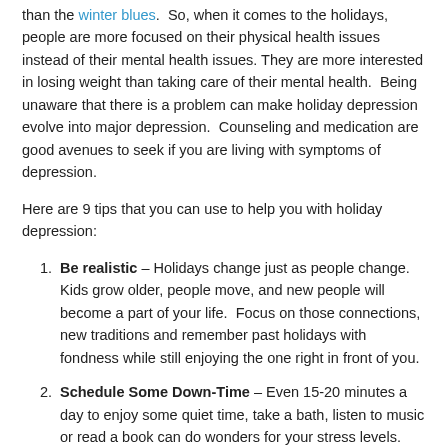than the winter blues. So, when it comes to the holidays, people are more focused on their physical health issues instead of their mental health issues. They are more interested in losing weight than taking care of their mental health. Being unaware that there is a problem can make holiday depression evolve into major depression. Counseling and medication are good avenues to seek if you are living with symptoms of depression.
Here are 9 tips that you can use to help you with holiday depression:
Be realistic – Holidays change just as people change. Kids grow older, people move, and new people will become a part of your life. Focus on those connections, new traditions and remember past holidays with fondness while still enjoying the one right in front of you.
Schedule Some Down-Time – Even 15-20 minutes a day to enjoy some quiet time, take a bath, listen to music or read a book can do wonders for your stress levels. Plus, it's ok to say no: you don't have to attend every party or family event.
Don't Isolate Yourself – Look for ways that you can enjoy social connections, even if you aren't able to go home for the holidays. If you are feeling lonely, ask a friend to come over